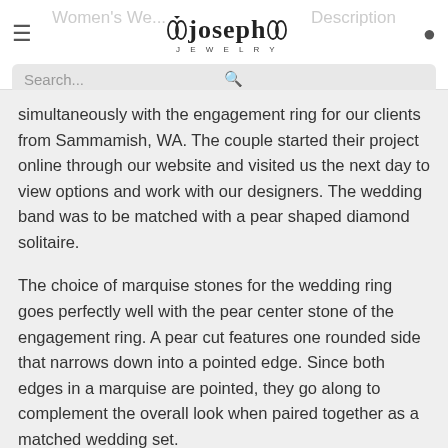Joseph Jewelry — Women's Wedding Rings | Description — Search bar
simultaneously with the engagement ring for our clients from Sammamish, WA. The couple started their project online through our website and visited us the next day to view options and work with our designers. The wedding band was to be matched with a pear shaped diamond solitaire.
The choice of marquise stones for the wedding ring goes perfectly well with the pear center stone of the engagement ring. A pear cut features one rounded side that narrows down into a pointed edge. Since both edges in a marquise are pointed, they go along to complement the overall look when paired together as a matched wedding set.